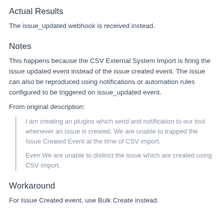Actual Results
The issue_updated webhook is received instead.
Notes
This happens because the CSV External System Import is firing the issue updated event instead of the issue created event. The issue can also be reproduced using notifications or automation rules configured to be triggered on issue_updated event.
From original description:
I am creating an plugins which send and notification to our tool whenever an Issue is created. We are unable to trapped the Issue Created Event at the time of CSV import.

Even We are unable to distinct the issue which are created using CSV import.
Workaround
For Issue Created event, use Bulk Create instead.